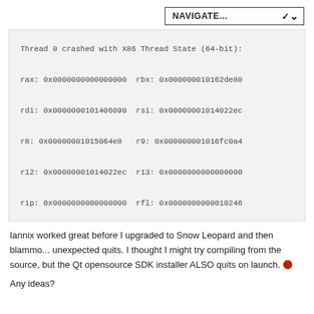NAVIGATE...
Thread 0 crashed with X86 Thread State (64-bit):

rax: 0x0000000000000000  rbx: 0x000000010162de80

rdi: 0x0000000101406090  rsi: 0x00000001014022ec

r8: 0x00000001015064e8   r9: 0x000000001016fc0a4

r12: 0x00000001014022ec  r13: 0x0000000000000000

rip: 0x0000000000000000  rfl: 0x0000000000010246
Iannix worked great before I upgraded to Snow Leopard and then blammo... unexpected quits. I thought I might try compiling from the source, but the Qt opensource SDK installer ALSO quits on launch.
Any ideas?